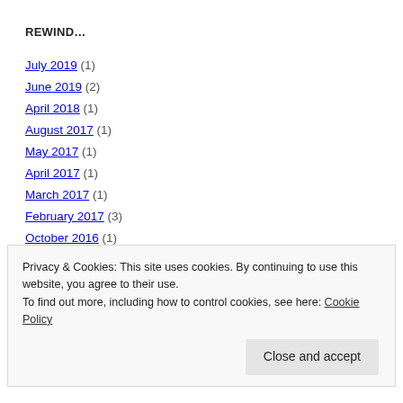REWIND…
July 2019 (1)
June 2019 (2)
April 2018 (1)
August 2017 (1)
May 2017 (1)
April 2017 (1)
March 2017 (1)
February 2017 (3)
October 2016 (1)
Privacy & Cookies: This site uses cookies. By continuing to use this website, you agree to their use. To find out more, including how to control cookies, see here: Cookie Policy